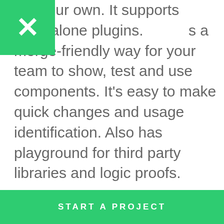[Figure (logo): Green square with white X icon in top-left corner]
start our own. It supports standalone plugins. ...s a merge-friendly way for your team to show, test and use components. It's easy to make quick changes and usage identification. Also has playground for third party libraries and logic proofs.
Do connect with us and checkout our React Native app development services.
START A PROJECT